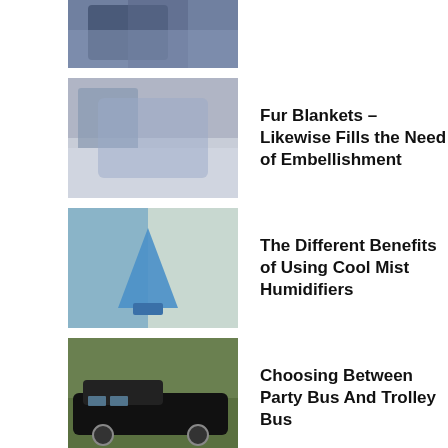[Figure (photo): Partial photo of a blanket/bedding item at the top of the page (cropped)]
Fur Blankets – Likewise Fills the Need of Embellishment
[Figure (photo): Photo of a cool mist humidifier on a table near a window]
The Different Benefits of Using Cool Mist Humidifiers
[Figure (photo): Photo of a black limousine / party bus on a road]
Choosing Between Party Bus And Trolley Bus
[Figure (photo): Photo of a smartphone showing Instagram app on a yellow-green background]
Overviews Techniques To Get Massive Followers On Instagram
Asset Investment – The Beneficial Chances To Put resources into Gold
The Best Opportunity to Purchase Palm Springs Land
How to Choose a UniCredit Investment Banker Exhortation?